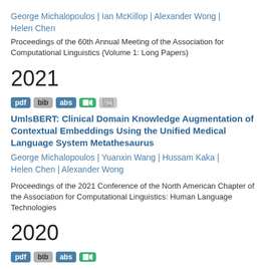George Michalopoulos | Ian McKillop | Alexander Wong | Helen Chen
Proceedings of the 60th Annual Meeting of the Association for Computational Linguistics (Volume 1: Long Papers)
2021
[Figure (other): Badge row: pdf (blue), bib (gray), abs (blue), video camera icon (green), barcode icon (gray)]
UmlsBERT: Clinical Domain Knowledge Augmentation of Contextual Embeddings Using the Unified Medical Language System Metathesaurus
George Michalopoulos | Yuanxin Wang | Hussam Kaka | Helen Chen | Alexander Wong
Proceedings of the 2021 Conference of the North American Chapter of the Association for Computational Linguistics: Human Language Technologies
2020
[Figure (other): Badge row: pdf (blue), bib (gray), abs (blue), video camera icon (green)]